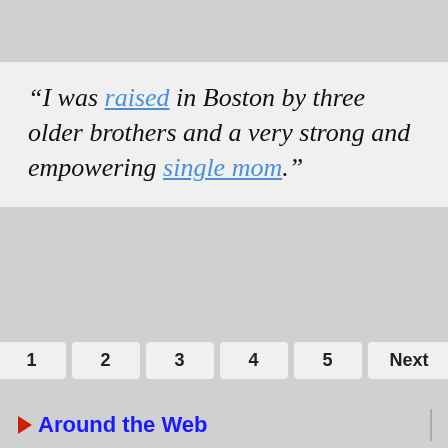“I was raised in Boston by three older brothers and a very strong and empowering single mom.”
1  2  3  4  5  Next
Around the Web
[Figure (photo): Casino slot machines with a person's face partially visible in the background]
infolinks
Frontgate: Outdoor Furniture | Bedding
25% off site wide sale going on now at Frontgate.com
frontgate.com